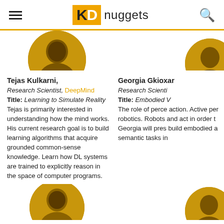KDnuggets
[Figure (photo): Circular portrait photo of Tejas Kulkarni with golden/amber color treatment]
[Figure (photo): Circular portrait photo of Georgia Gkioxari (partially visible) with golden/amber color treatment]
Tejas Kulkarni, Research Scientist, DeepMind
Title: Learning to Simulate Reality
Tejas is primarily interested in understanding how the mind works. His current research goal is to build learning algorithms that acquire grounded common-sense knowledge. Learn how DL systems are trained to explicitly reason in the space of computer programs.
Georgia Gkioxar... Research Scientist... Title: Embodied... The role of perce... action. Active per... robotics. Robots... and act in order t... Georgia will pres... build embodied a... semantic tasks in...
[Figure (photo): Circular portrait photo of a third speaker (partially visible) with golden/amber color treatment]
[Figure (photo): Circular portrait photo of a fourth speaker (partially visible) with golden/amber color treatment, on the right side]